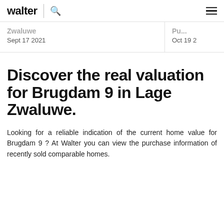walter
Zwaluwe
Sept 17 2021
Oct 19 2...
Discover the real valuation for Brugdam 9 in Lage Zwaluwe.
Looking for a reliable indication of the current home value for Brugdam 9 ? At Walter you can view the purchase information of recently sold comparable homes.